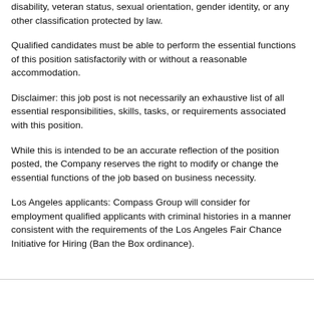disability, veteran status, sexual orientation, gender identity, or any other classification protected by law.
Qualified candidates must be able to perform the essential functions of this position satisfactorily with or without a reasonable accommodation.
Disclaimer: this job post is not necessarily an exhaustive list of all essential responsibilities, skills, tasks, or requirements associated with this position.
While this is intended to be an accurate reflection of the position posted, the Company reserves the right to modify or change the essential functions of the job based on business necessity.
Los Angeles applicants: Compass Group will consider for employment qualified applicants with criminal histories in a manner consistent with the requirements of the Los Angeles Fair Chance Initiative for Hiring (Ban the Box ordinance).